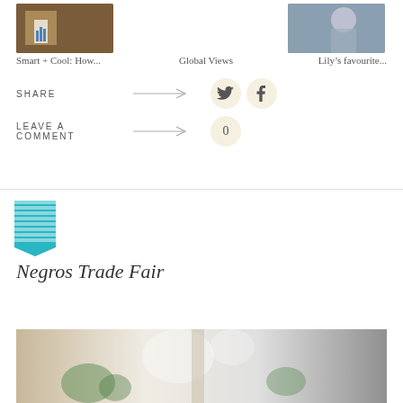[Figure (photo): Thumbnail image left - dark brown toned photo]
Smart + Cool: How...
Global Views
[Figure (photo): Thumbnail image right - blue-grey toned photo of person]
Lily’s favourite...
SHARE
LEAVE A COMMENT
[Figure (logo): Teal bookmark/ribbon logo icon]
Negros Trade Fair
[Figure (photo): Interior photo of trade fair venue with plants and lighting]